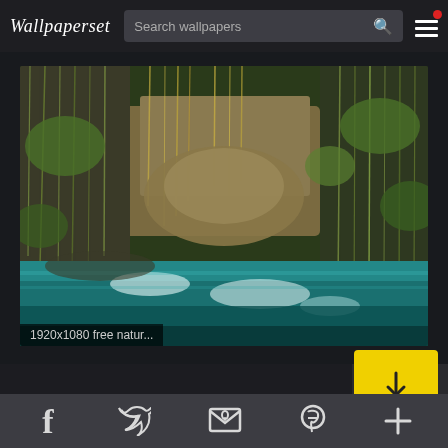Wallpaperset — Search wallpapers website header with search bar and menu
[Figure (photo): Scenic cenote with turquoise water, hanging vines and roots from a cavern ceiling, surrounded by lush green vegetation and rock walls. Light filters down creating bright reflections on the water surface.]
1920x1080 free natur...
This website uses cookies. Learn more
Social media icons: Facebook, Twitter, Email/Newsletter, Pinterest, Plus